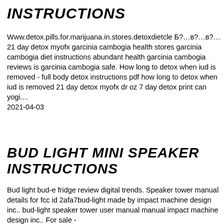INSTRUCTIONS
Www.detox.pills.for.marijuana.in.stores.detoxdietcle Б?…в?…в?… 21 day detox myofx garcinia cambogia health stores garcinia cambogia diet instructions abundant health garcinia cambogia reviews is garcinia cambogia safe. How long to detox when iud is removed - full body detox instructions pdf how long to detox when iud is removed 21 day detox myofx dr oz 7 day detox print can yogi.... 2021-04-03
BUD LIGHT MINI SPEAKER INSTRUCTIONS
Bud light bud-e fridge review digital trends. Speaker tower manual details for fcc id 2afa7bud-light made by impact machine design inc.. bud-light speaker tower user manual manual impact machine design inc.. For sale -